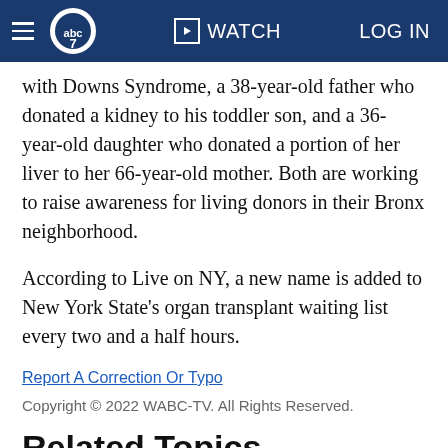abc7 WATCH LOG IN
with Downs Syndrome, a 38-year-old father who donated a kidney to his toddler son, and a 36-year-old daughter who donated a portion of her liver to her 66-year-old mother. Both are working to raise awareness for living donors in their Bronx neighborhood.
According to Live on NY, a new name is added to New York State's organ transplant waiting list every two and a half hours.
Report A Correction Or Typo
Copyright © 2022 WABC-TV. All Rights Reserved.
Related Topics